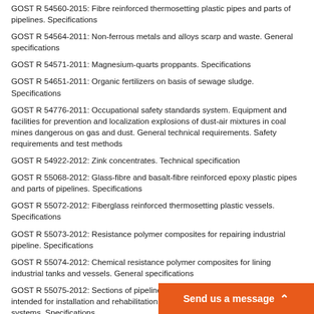GOST R 54560-2015: Fibre reinforced thermosetting plastic pipes and parts of pipelines. Specifications
GOST R 54564-2011: Non-ferrous metals and alloys scarp and waste. General specifications
GOST R 54571-2011: Magnesium-quarts proppants. Specifications
GOST R 54651-2011: Organic fertilizers on basis of sewage sludge. Specifications
GOST R 54776-2011: Occupational safety standards system. Equipment and facilities for prevention and localization explosions of dust-air mixtures in coal mines dangerous on gas and dust. General technical requirements. Safety requirements and test methods
GOST R 54922-2012: Zink concentrates. Technical specification
GOST R 55068-2012: Glass-fibre and basalt-fibre reinforced epoxy plastic pipes and parts of pipelines. Specifications
GOST R 55072-2012: Fiberglass reinforced thermosetting plastic vessels. Specifications
GOST R 55073-2012: Resistance polymer composites for repairing industrial pipeline. Specifications
GOST R 55074-2012: Chemical resistance polymer composites for lining industrial tanks and vessels. General specifications
GOST R 55075-2012: Sections of pipelines derived from composite materials intended for installation and rehabilitation of public water and wastewater systems. Specifications
GOST R 55078-2012: Fiberglass reinforced thermosetting plastic pipes. Glass reinforced thermosetting plastics cylinder shells of chimney and flue-pipes. Specifications
GOST R 55570-2013: Organic fertilize…